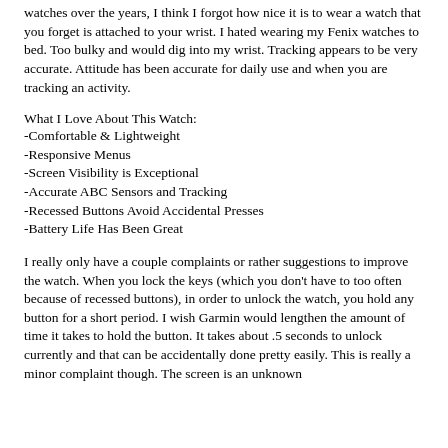watches over the years, I think I forgot how nice it is to wear a watch that you forget is attached to your wrist. I hated wearing my Fenix watches to bed. Too bulky and would dig into my wrist. Tracking appears to be very accurate. Attitude has been accurate for daily use and when you are tracking an activity.
What I Love About This Watch:
-Comfortable & Lightweight
-Responsive Menus
-Screen Visibility is Exceptional
-Accurate ABC Sensors and Tracking
-Recessed Buttons Avoid Accidental Presses
-Battery Life Has Been Great
I really only have a couple complaints or rather suggestions to improve the watch. When you lock the keys (which you don't have to too often because of recessed buttons), in order to unlock the watch, you hold any button for a short period. I wish Garmin would lengthen the amount of time it takes to hold the button. It takes about .5 seconds to unlock currently and that can be accidentally done pretty easily. This is really a minor complaint though. The screen is an unknown